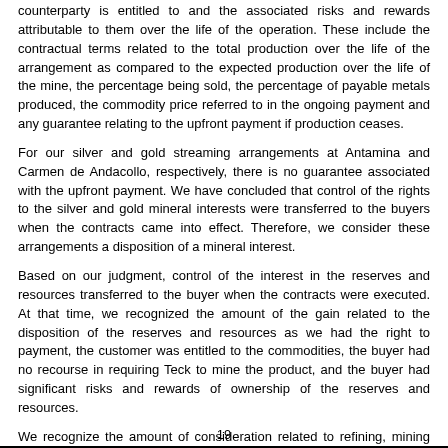counterparty is entitled to and the associated risks and rewards attributable to them over the life of the operation. These include the contractual terms related to the total production over the life of the arrangement as compared to the expected production over the life of the mine, the percentage being sold, the percentage of payable metals produced, the commodity price referred to in the ongoing payment and any guarantee relating to the upfront payment if production ceases.
For our silver and gold streaming arrangements at Antamina and Carmen de Andacollo, respectively, there is no guarantee associated with the upfront payment. We have concluded that control of the rights to the silver and gold mineral interests were transferred to the buyers when the contracts came into effect. Therefore, we consider these arrangements a disposition of a mineral interest.
Based on our judgment, control of the interest in the reserves and resources transferred to the buyer when the contracts were executed. At that time, we recognized the amount of the gain related to the disposition of the reserves and resources as we had the right to payment, the customer was entitled to the commodities, the buyer had no recourse in requiring Teck to mine the product, and the buyer had significant risks and rewards of ownership of the reserves and resources.
We recognize the amount of consideration related to refining, mining and delivery services as the work is performed.
19